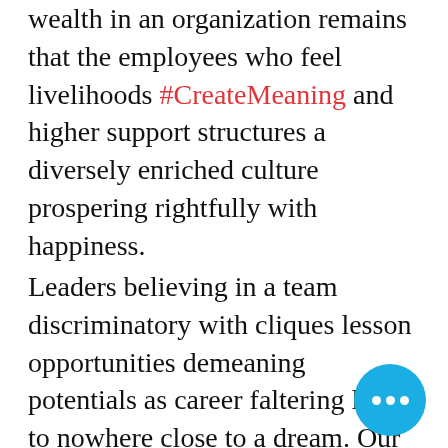wealth in an organization remains that the employees who feel livelihoods #CreateMeaning and higher support structures a diversely enriched culture prospering rightfully with happiness.
Leaders believing in a team discriminatory with cliques lesson opportunities demeaning potentials as career faltering leads to nowhere close to a dream. Our income means a lot to care for those we love. I feel optimistic that employees shall engage with employers to ensure marginal profits remain valuable while earning potentials feel eq meaningful to those who work da